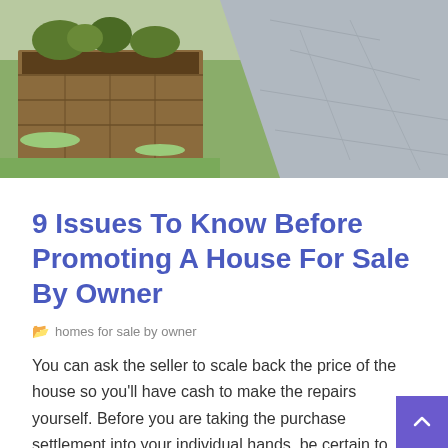[Figure (photo): Outdoor garden photo showing a raised wooden planter box with plants, green grass lawn, and a stone/paved path or driveway in the background.]
9 Issues To Know Before Promoting A House For Sale By Owner
homes for sale by owner
You can ask the seller to scale back the price of the house so you'll have cash to make the repairs yourself. Before you are taking the purchase settlement into your individual hands, be certain to seek the guidance of an actual estate skilled. You may wish to rent a transactional agent – an agent